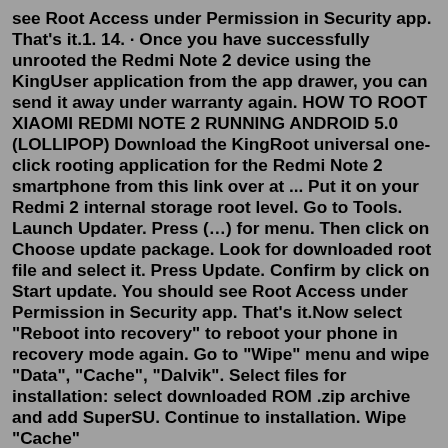see Root Access under Permission in Security app. That's it.1. 14. · Once you have successfully unrooted the Redmi Note 2 device using the KingUser application from the app drawer, you can send it away under warranty again. HOW TO ROOT XIAOMI REDMI NOTE 2 RUNNING ANDROID 5.0 (LOLLIPOP) Download the KingRoot universal one-click rooting application for the Redmi Note 2 smartphone from this link over at ... Put it on your Redmi 2 internal storage root level. Go to Tools. Launch Updater. Press (…) for menu. Then click on Choose update package. Look for downloaded root file and select it. Press Update. Confirm by click on Start update. You should see Root Access under Permission in Security app. That's it.Now select "Reboot into recovery" to reboot your phone in recovery mode again. Go to "Wipe" menu and wipe "Data", "Cache", "Dalvik". Select files for installation: select downloaded ROM .zip archive and add SuperSU. Continue to installation. Wipe "Cache" and "Dalvik". Reboot into system. Enjoy your ...